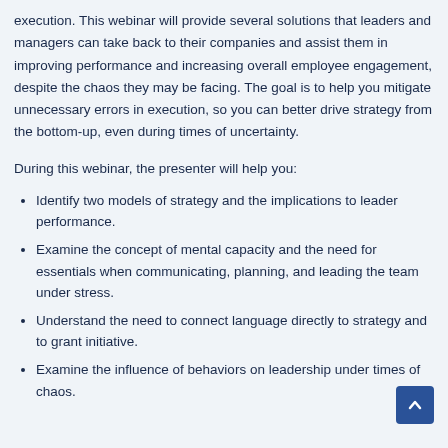execution. This webinar will provide several solutions that leaders and managers can take back to their companies and assist them in improving performance and increasing overall employee engagement, despite the chaos they may be facing. The goal is to help you mitigate unnecessary errors in execution, so you can better drive strategy from the bottom-up, even during times of uncertainty.
During this webinar, the presenter will help you:
Identify two models of strategy and the implications to leader performance.
Examine the concept of mental capacity and the need for essentials when communicating, planning, and leading the team under stress.
Understand the need to connect language directly to strategy and to grant initiative.
Examine the influence of behaviors on leadership under times of chaos.